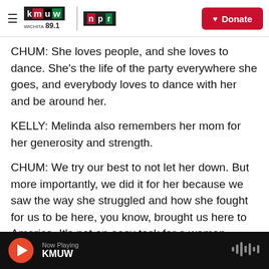KMUW WICHITA 89.1 | NPR — Donate
CHUM: She loves people, and she loves to dance. She's the life of the party everywhere she goes, and everybody loves to dance with her and be around her.
KELLY: Melinda also remembers her mom for her generosity and strength.
CHUM: We try our best to not let her down. But more importantly, we did it for her because we saw the way she struggled and how she fought for us to be here, you know, brought us here to America. It's not an easy task for a woman.
Now Playing KMUW